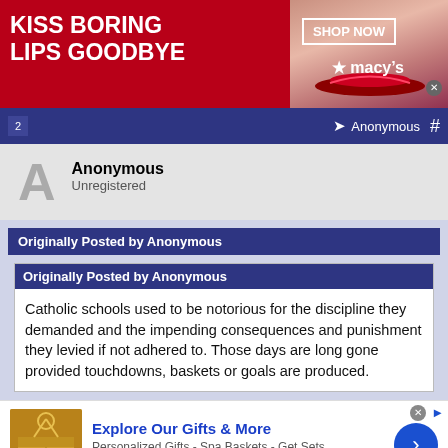[Figure (screenshot): Advertisement banner: red background, woman's face with red lips, text 'KISS BORING LIPS GOODBYE', 'SHOP NOW', Macy's logo]
Anonymous  #
Anonymous
Unregistered
Originally Posted by Anonymous
Originally Posted by Anonymous
Catholic schools used to be notorious for the discipline they demanded and the impending consequences and punishment they levied if not adhered to. Those days are long gone provided touchdowns, baskets or goals are produced.
[Figure (screenshot): Advertisement: 1800flowers.com - Explore Our Gifts & More, Personalized Gifts - Spa Baskets - Get Sets, www.1800flowers.com]